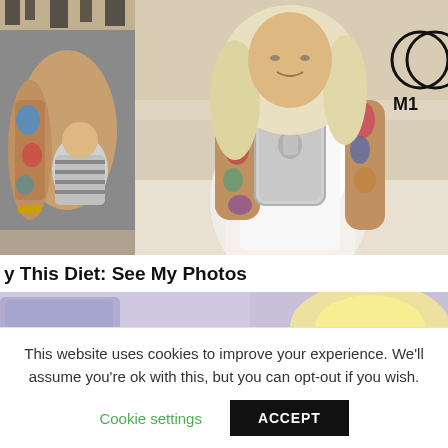[Figure (photo): Two side-by-side photos: left shows a tattooed person holding a baby in striped clothing; right shows a blonde woman with tattoos taking a mirror selfie wearing a white bodysuit]
y This Diet: See My Photos
[Figure (photo): Partial image of a room with purple/lavender tones and a warm glowing light]
This website uses cookies to improve your experience. We'll assume you're ok with this, but you can opt-out if you wish.
Cookie settings
ACCEPT